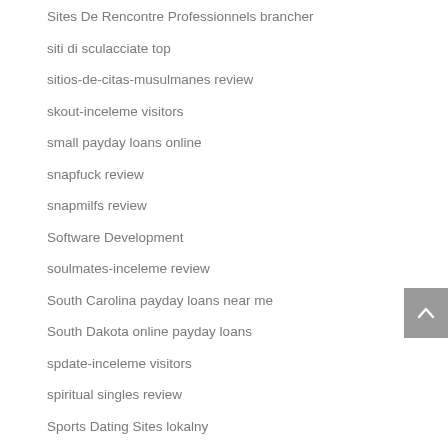Sites De Rencontre Professionnels brancher
siti di sculacciate top
sitios-de-citas-musulmanes review
skout-inceleme visitors
small payday loans online
snapfuck review
snapmilfs review
Software Development
soulmates-inceleme review
South Carolina payday loans near me
South Dakota online payday loans
spdate-inceleme visitors
spiritual singles review
Sports Dating Sites lokalny
squirt lesbian dating apps